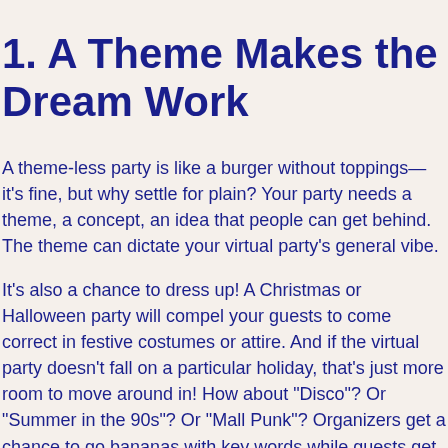1. A Theme Makes the Dream Work
A theme-less party is like a burger without toppings—it's fine, but why settle for plain? Your party needs a theme, a concept, an idea that people can get behind. The theme can dictate your virtual party's general vibe.
It's also a chance to dress up! A Christmas or Halloween party will compel your guests to come correct in festive costumes or attire. And if the virtual party doesn't fall on a particular holiday, that's just more room to move around in! How about "Disco"? Or "Summer in the 90s"? Or "Mall Punk"? Organizers get a chance to go bananas with key words while guests get to make sense of the theme like a puzzle